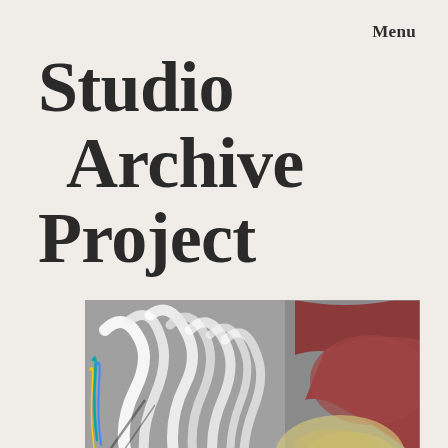Menu
Studio Archive Project
[Figure (illustration): A pencil/colored-pencil drawing showing abstract white flowing forms against a grey background on the left, and warm reddish-brown organic shapes with a pale yellowish form on the right. The artwork appears to be a studio artwork or sketch, partially cropped.]